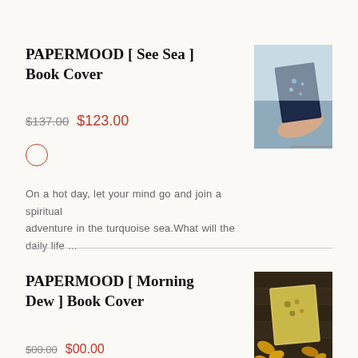PAPERMOOD [ See Sea ] Book Cover
$137.00  $123.00
On a hot day, let your mind go and join a spiritual adventure in the turquoise sea.What will the daily life ...
[Figure (photo): Hand holding a dark blue book cover with sea-themed pattern, light background]
PAPERMOOD [ Morning Dew ] Book Cover
[Figure (photo): Yellow/gold book cover on dark wooden surface with autumn leaves]